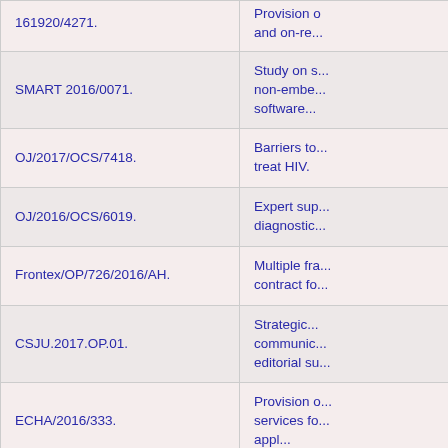| Reference | Description |
| --- | --- |
| 161920/4271. | Provision ... and on-re... |
| SMART 2016/0071. | Study on s... non-embe... software... |
| OJ/2017/OCS/7418. | Barriers to... treat HIV. |
| OJ/2016/OCS/6019. | Expert sup... diagnostic... |
| Frontex/OP/726/2016/AH. | Multiple fra... contract fo... |
| CSJU.2017.OP.01. | Strategic... communic... editorial su... |
| ECHA/2016/333. | Provision o... services fo... appl... |
| PR-2017-02-SEC/BER. | Call for ter... security gu... |
| EASA.2017.HVP.07. | Digital ano... communic... service... |
| VT/2016/073. | Social affa... |